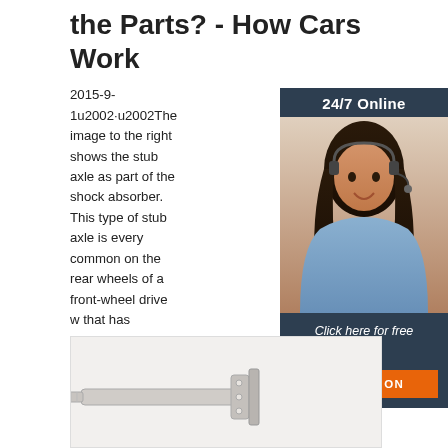the Parts? - How Cars Work
2015-9-1u2002·u2002The image to the right shows the stub axle as part of the shock absorber. This type of stub axle is every common on the rear wheels of a front-wheel drive w that has McPherson Strut suspension. The second example is of a bolt on stub axle. S examples of where the the stub axle bolts the steering knuckle or the shock absorbe
[Figure (photo): Advertisement widget with '24/7 Online' header, photo of a woman with headset, 'Click here for free chat!' text, and 'QUOTATION' button]
[Figure (photo): Bottom image showing a stub axle component on a light grey background]